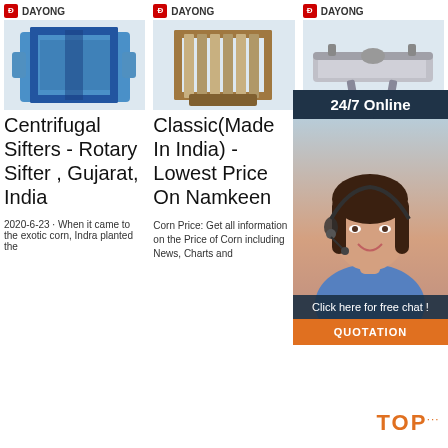[Figure (photo): Centrifugal sifter machine with blue fabric covering, DAYONG brand logo above]
Centrifugal Sifters - Rotary Sifter , Gujarat, India
2020-6-23 · When it came to the exotic corn, Indra planted the
[Figure (photo): Classic plate filter press machine made in India, DAYONG brand logo above]
Classic(Made In India) - Lowest Price On Namkeen
Corn Price: Get all information on the Price of Corn including News, Charts and
[Figure (photo): Vibrating screen / sifter machine, DAYONG brand logo above, with 24/7 Online overlay and customer service agent photo]
To Be Flat Bran With Price In India
Price. 1 Bushel 0,035 m³. Corn Price Per 1 m³. 219.09 USD. 1